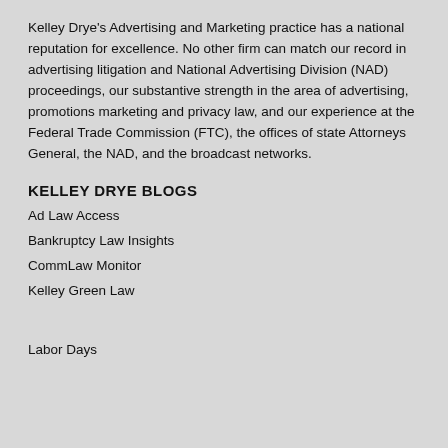Kelley Drye’s Advertising and Marketing practice has a national reputation for excellence. No other firm can match our record in advertising litigation and National Advertising Division (NAD) proceedings, our substantive strength in the area of advertising, promotions marketing and privacy law, and our experience at the Federal Trade Commission (FTC), the offices of state Attorneys General, the NAD, and the broadcast networks.
KELLEY DRYE BLOGS
Ad Law Access
Bankruptcy Law Insights
CommLaw Monitor
Kelley Green Law
Labor Days